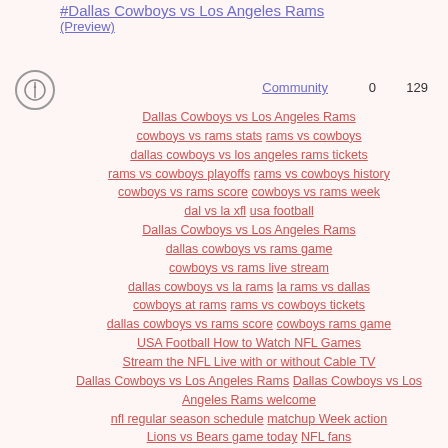#Dallas Cowboys vs Los Angeles Rams
(Preview)
Community  0  129
Dallas Cowboys vs Los Angeles Rams cowboys vs rams stats rams vs cowboys dallas cowboys vs los angeles rams tickets rams vs cowboys playoffs rams vs cowboys history cowboys vs rams score cowboys vs rams week dal vs la xfl usa football Dallas Cowboys vs Los Angeles Rams dallas cowboys vs rams game cowboys vs rams live stream dallas cowboys vs la rams la rams vs dallas cowboys at rams rams vs cowboys tickets dallas cowboys vs rams score cowboys rams game USA Football How to Watch NFL Games Stream the NFL Live with or without Cable TV Dallas Cowboys vs Los Angeles Rams Dallas Cowboys vs Los Angeles Rams welcome nfl regular season schedule matchup Week action Lions vs Bears game today NFL fans watch match online TVNFL Regular Season Week Dallas Cowboys vs Los Angeles Rams Cowboys vs Rams TV Channel NBC SoFi Stadium Inglewood Inglewood Cowboys vs Rams live stream game watch game streaming cable-free live-TV streaming Fox live sports watch live stream game streaming FuboTV watch live Cloud DVR Hulu Live TV Dallas Cowboys vs Los Angeles Rams USA Football Cowboys To Open Season vs. LA Rams Cowboys vs. Rams Game Summary ESPN extensive Netflix Dallas Cowboys vs Los Angeles Rams live streaming live TV channels Hulu Live watch live stream game streaming Fox free watch live stream game streaming watch live cloud DVR Fox Sports watch live stream game Fox Sports